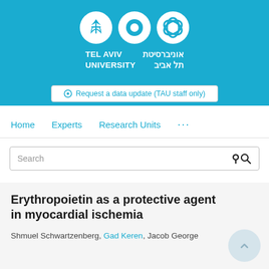[Figure (logo): Tel Aviv University logo with three circular icons and bilingual university name in English and Hebrew on blue background]
Request a data update (TAU staff only)
Home  Experts  Research Units  ...
Search
Erythropoietin as a protective agent in myocardial ischemia
Shmuel Schwartzenberg, Gad Keren, Jacob George